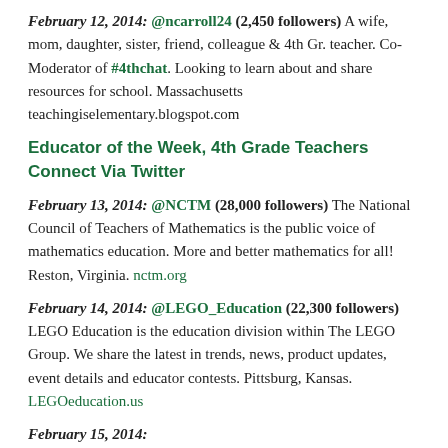February 12, 2014: @ncarroll24 (2,450 followers) A wife, mom, daughter, sister, friend, colleague & 4th Gr. teacher. Co-Moderator of #4thchat. Looking to learn about and share resources for school. Massachusetts teachingiselementary.blogspot.com
Educator of the Week, 4th Grade Teachers Connect Via Twitter
February 13, 2014: @NCTM (28,000 followers) The National Council of Teachers of Mathematics is the public voice of mathematics education. More and better mathematics for all! Reston, Virginia. nctm.org
February 14, 2014: @LEGO_Education (22,300 followers) LEGO Education is the education division within The LEGO Group. We share the latest in trends, news, product updates, event details and educator contests. Pittsburg, Kansas. LEGOeducation.us
February 15, 2014: @... (410,500 followers)